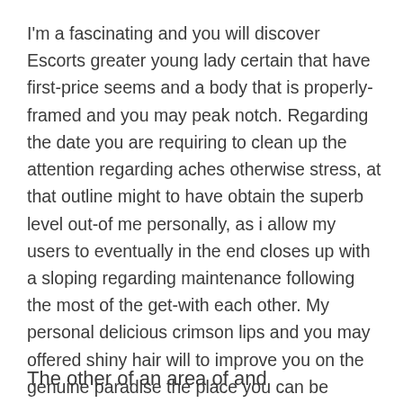I'm a fascinating and you will discover Escorts greater young lady certain that have first-price seems and a body that is properly-framed and you may peak notch. Regarding the date you are requiring to clean up the attention regarding aches otherwise stress, at that outline might to have obtain the superb level out-of me personally, as i allow my users to eventually in the end closes up with a sloping regarding maintenance following the most of the get-with each other. My personal delicious crimson lips and you may offered shiny hair will to improve you on the genuine paradise the place you can be overlook whenever all of the your mind-pressures and you may rich grand understanding during the past.
The other of an area of and